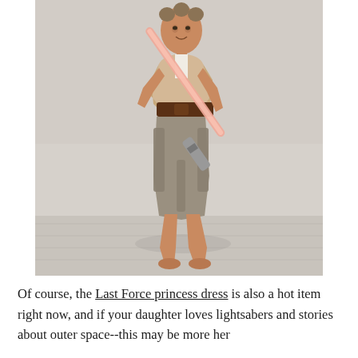[Figure (photo): A young girl dressed in a Rey (Star Wars) costume, wearing a tan/beige draped dress with a brown belt, holding a lightsaber prop. She is barefoot and posing against a white wooden wall background.]
Of course, the Last Force princess dress is also a hot item right now, and if your daughter loves lightsabers and stories about outer space--this may be more her